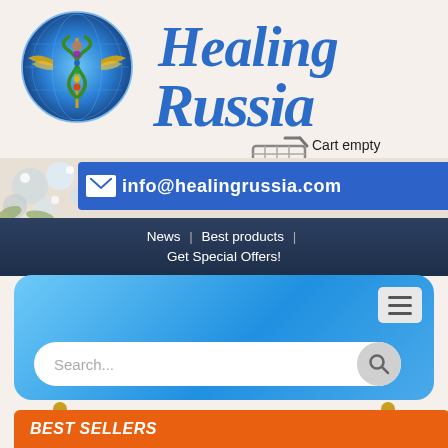[Figure (logo): Healing Russia website logo with circular emblem showing a meditating figure with caduceus and golden wings, and stylized italic blue text 'Healing Russia']
[Figure (infographic): Shopping cart icon with 'Cart empty' text and 'Show Cart' link below]
[Figure (infographic): Blue email banner with white envelope icon and email address info@healingrussia.com, overlaid on flower background]
News  |  Best products  |  Get Special Offers!
[Figure (screenshot): Blue rounded rectangle search area with hamburger menu button and search box placeholder]
BEST SELLERS